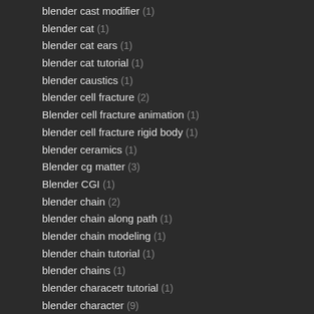blender cast modifier (1)
blender cat (1)
blender cat ears (1)
blender cat tutorial (1)
blender caustics (1)
blender cell fracture (2)
Blender cell fracture animation (1)
blender cell fracture rigid body (1)
blender ceramics (1)
Blender cg matter (3)
Blender CGI (1)
blender chain (2)
blender chain along path (1)
blender chain modeling (1)
blender chain tutorial (1)
blender chains (1)
blender characetr tutorial (1)
blender character (9)
blender character animation (1)
blender character animation showreel (1)
blender character animation tutorial (2)
blender character animator (1)
blender character creation (1)